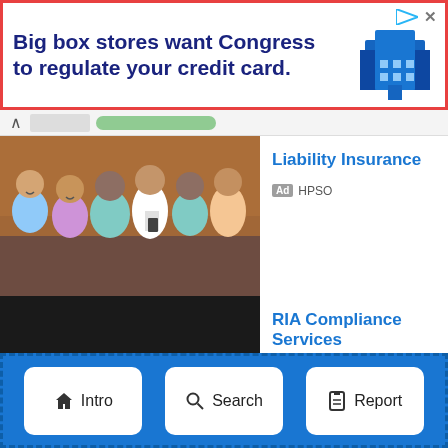[Figure (screenshot): Top advertisement banner: 'Big box stores want Congress to regulate your credit card.' with blue building icon, red border, and corner play/close icons]
[Figure (screenshot): Collapse arrow bar above content]
[Figure (photo): Group of healthcare professionals in scrubs and white coats]
Liability Insurance
Ad HPSO
[Figure (screenshot): AdvisorLaw advertisement with professional man in suit and compliance services text overlay]
RIA Compliance Services
Ad AdvisorLaw, LLC
[Figure (infographic): Bottom navigation bar with three buttons: Intro, Search, Report on blue background with dashed border]